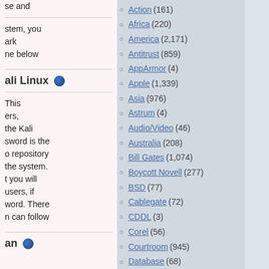se and
stem, you
ark
ne below
ali Linux 🌐
This
ers,
the Kali
sword is the
o repository
the system.
t you will
users, if
word. There
n can follow
an 🌐
Action (161)
Africa (220)
America (2,171)
Antitrust (859)
AppArmor (4)
Apple (1,339)
Asia (976)
Astrum (4)
Audio/Video (46)
Australia (208)
Bill Gates (1,074)
Boycott Novell (277)
BSD (77)
Cablegate (72)
CDDL (3)
Corel (56)
Courtroom (945)
Database (68)
Deals (317)
Debian (216)
Deception (4,160)
Dell (136)
DRM (253)
ECMA (207)
EFF (100)
Europe (7,138)